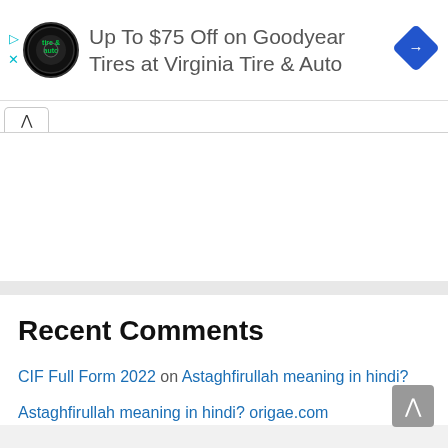[Figure (screenshot): Advertisement banner for Virginia Tire & Auto - Goodyear tires discount. Shows circular logo on left, ad text in center, blue diamond navigation icon on right. Below ad are play and close control icons on the left side.]
Up To $75 Off on Goodyear Tires at Virginia Tire & Auto
Recent Comments
CIF Full Form 2022 on Astaghfirullah meaning in hindi?
Astaghfirullah meaning in hindi? origae.com